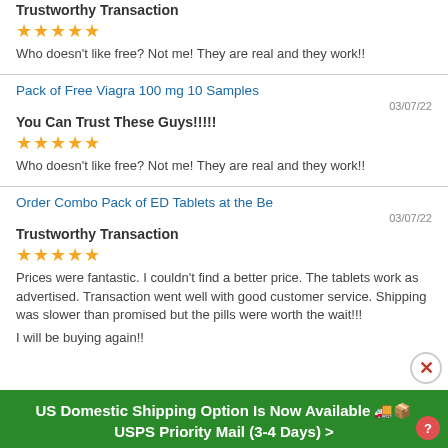Trustworthy Transaction
★★★★★
Who doesn't like free? Not me! They are real and they work!!
Pack of Free Viagra 100 mg 10 Samples
03/07/22
You Can Trust These Guys!!!!!
★★★★★
Who doesn't like free? Not me! They are real and they work!!
Order Combo Pack of ED Tablets at the Be
03/07/22
Trustworthy Transaction
★★★★★
Prices were fantastic. I couldn't find a better price. The tablets work as advertised. Transaction went well with good customer service. Shipping was slower than promised but the pills were worth the wait!!! I will be buying again!!
US Domestic Shipping Option Is Now Available 🚚📦
USPS Priority Mail (3-4 Days) >